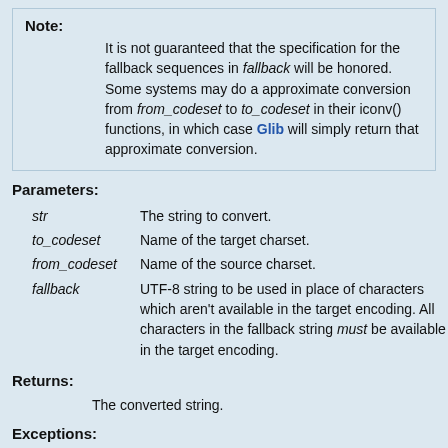Note:
It is not guaranteed that the specification for the fallback sequences in fallback will be honored. Some systems may do a approximate conversion from from_codeset to to_codeset in their iconv() functions, in which case Glib will simply return that approximate conversion.
Parameters:
str — The string to convert.
to_codeset — Name of the target charset.
from_codeset — Name of the source charset.
fallback — UTF-8 string to be used in place of characters which aren't available in the target encoding. All characters in the fallback string must be available in the target encoding.
Returns:
The converted string.
Exceptions: